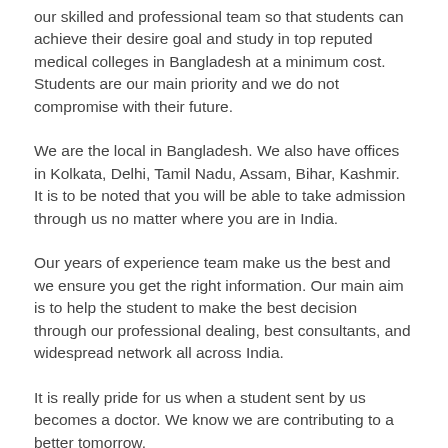our skilled and professional team so that students can achieve their desire goal and study in top reputed medical colleges in Bangladesh at a minimum cost. Students are our main priority and we do not compromise with their future.
We are the local in Bangladesh. We also have offices in Kolkata, Delhi, Tamil Nadu, Assam, Bihar, Kashmir. It is to be noted that you will be able to take admission through us no matter where you are in India.
Our years of experience team make us the best and we ensure you get the right information. Our main aim is to help the student to make the best decision through our professional dealing, best consultants, and widespread network all across India.
It is really pride for us when a student sent by us becomes a doctor. We know we are contributing to a better tomorrow.